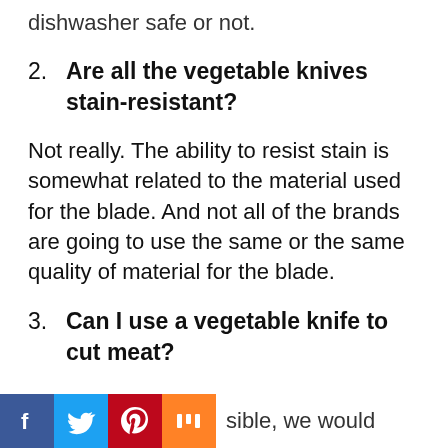dishwasher safe or not.
2. Are all the vegetable knives stain-resistant?
Not really. The ability to resist stain is somewhat related to the material used for the blade. And not all of the brands are going to use the same or the same quality of material for the blade.
3. Can I use a vegetable knife to cut meat?
sible, we would